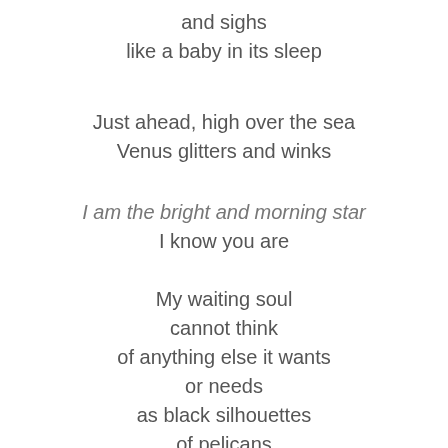and sighs
like a baby in its sleep
Just ahead, high over the sea
Venus glitters and winks
I am the bright and morning star
I know you are
My waiting soul
cannot think
of anything else it wants
or needs
as black silhouettes
of pelicans
fly soundlessly by